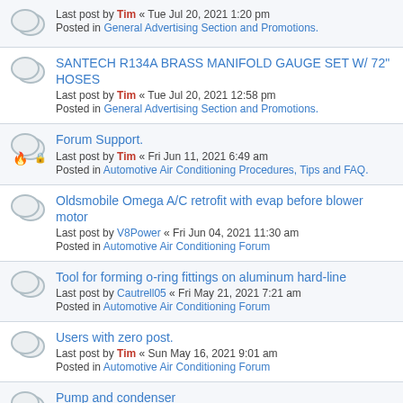Last post by Tim « Tue Jul 20, 2021 1:20 pm
Posted in General Advertising Section and Promotions.
SANTECH R134A BRASS MANIFOLD GAUGE SET W/ 72" HOSES
Last post by Tim « Tue Jul 20, 2021 12:58 pm
Posted in General Advertising Section and Promotions.
Forum Support.
Last post by Tim « Fri Jun 11, 2021 6:49 am
Posted in Automotive Air Conditioning Procedures, Tips and FAQ.
Oldsmobile Omega A/C retrofit with evap before blower motor
Last post by V8Power « Fri Jun 04, 2021 11:30 am
Posted in Automotive Air Conditioning Forum
Tool for forming o-ring fittings on aluminum hard-line
Last post by Cautrell05 « Fri May 21, 2021 7:21 am
Posted in Automotive Air Conditioning Forum
Users with zero post.
Last post by Tim « Sun May 16, 2021 9:01 am
Posted in Automotive Air Conditioning Forum
Pump and condenser
Last post by JohnHere « Sun May 02, 2021 8:48 am
Posted in Automotive Air Conditioning Forum